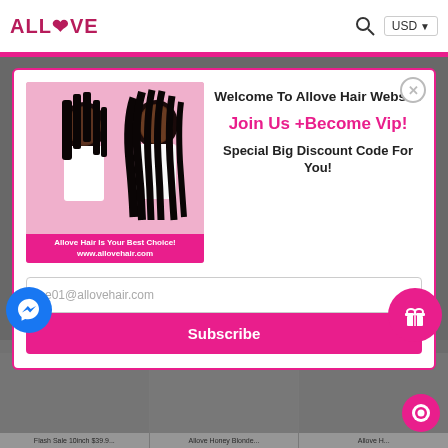ALLLOVE  USD
[Figure (screenshot): Allove Hair website popup modal with promotional content. Shows two women with long black hair on pink background. Modal contains welcome message, join VIP offer, and email subscribe form.]
Welcome To Allove Hair Website
Join Us +Become Vip!
Special Big Discount Code For You!
ce01@allovehair.com
Subscribe
Allove Hair Is Your Best Choice! www.allovehair.com
Flash Sale 10inch $39.9...
Allove Honey Blonde...
Allove H...